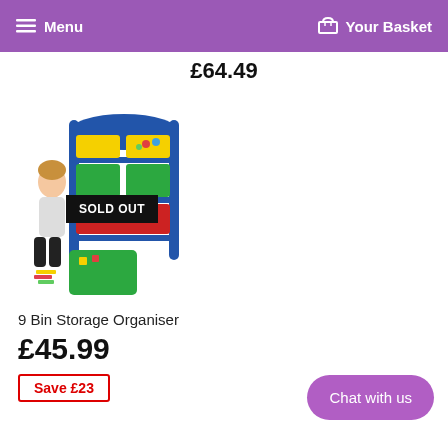Menu   Your Basket
£64.49
[Figure (photo): A young girl sitting next to a colourful 9-bin storage organiser unit with yellow, green, and red plastic bins on a blue frame. A green storage bin sits on the floor beside her. A 'SOLD OUT' badge overlays the image.]
9 Bin Storage Organiser
£45.99
Save £23
Chat with us